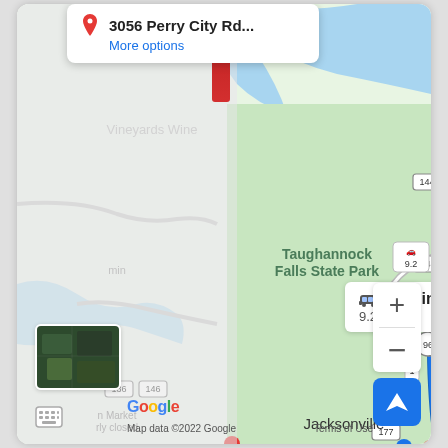[Figure (screenshot): Google Maps screenshot showing a route navigation. A popup at the top shows the destination '3056 Perry City Rd...' with a 'More options' link. The map displays Taughannock Falls State Park area with a blue route line. A route info badge shows '13 min / 9.2 miles'. Road numbers 144, 148, 148A, 96, 170, 143, 177 are visible. Jacksonville is labeled on the map. Zoom controls (+/-) and a navigation arrow button are in the bottom right. A satellite thumbnail is in the bottom left. Google logo and 'Map data ©2022 Google' and 'Terms of Use' appear at the bottom.]